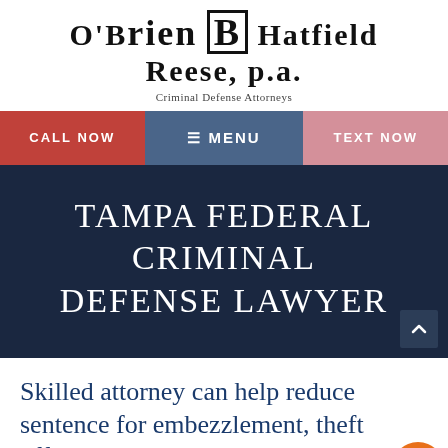O'BRIEN B HATFIELD REESE, P.A. Criminal Defense Attorneys
[Figure (screenshot): Navigation bar with three sections: CALL NOW (red), MENU (dark blue), TEXT NOW (pink)]
TAMPA FEDERAL CRIMINAL DEFENSE LAWYER
Skilled attorney can help reduce sentence for embezzlement, theft offenses